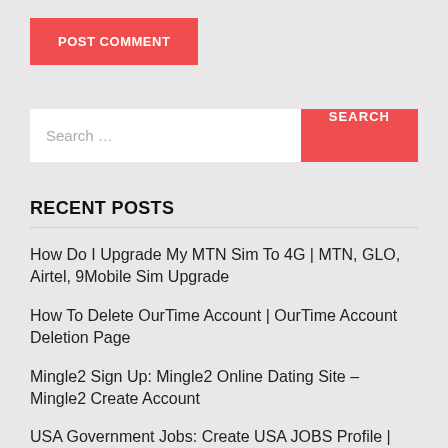[Figure (screenshot): Red POST COMMENT button]
[Figure (screenshot): Search bar with text input showing 'Search ...' placeholder and a red SEARCH button]
RECENT POSTS
How Do I Upgrade My MTN Sim To 4G | MTN, GLO, Airtel, 9Mobile Sim Upgrade
How To Delete OurTime Account | OurTime Account Deletion Page
Mingle2 Sign Up: Mingle2 Online Dating Site – Mingle2 Create Account
USA Government Jobs: Create USA JOBS Profile |